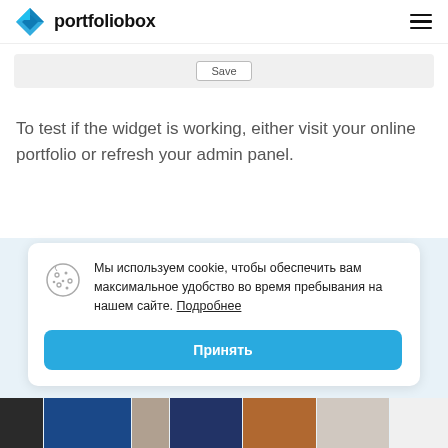portfoliobox
[Figure (screenshot): A gray save bar with a 'Save' button in the center]
To test if the widget is working, either visit your online portfolio or refresh your admin panel.
[Figure (infographic): Cookie consent dialog in Russian with a cookie icon, text 'Мы используем cookie, чтобы обеспечить вам максимальное удобство во время пребывания на нашем сайте. Подробнее' and a blue 'Принять' (Accept) button]
[Figure (photo): A strip of portfolio thumbnail images at the bottom of the page]